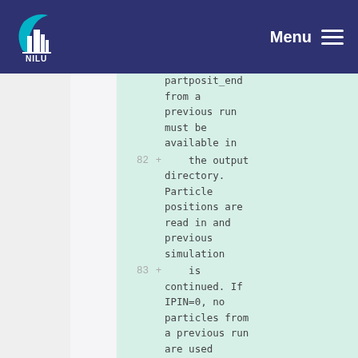Menu
| line | type | code |
| --- | --- | --- |
|  | + | partposit_end from a previous run must be available in |
| 82 | + |     the output directory. Particle positions are read in and previous simulation |
| 83 | + |     is continued. If IPIN=0, no particles from a previous run are used |
| 84 | + |  |
| 85 | + | 17. IF IOUTPUTFOREACHP |